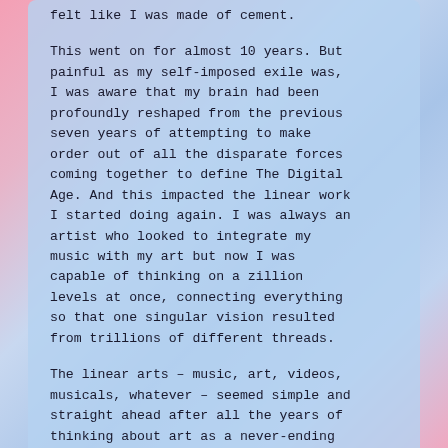felt like I was made of cement.
This went on for almost 10 years. But painful as my self-imposed exile was, I was aware that my brain had been profoundly reshaped from the previous seven years of attempting to make order out of all the disparate forces coming together to define The Digital Age. And this impacted the linear work I started doing again. I was always an artist who looked to integrate my music with my art but now I was capable of thinking on a zillion levels at once, connecting everything so that one singular vision resulted from trillions of different threads.
The linear arts – music, art, videos, musicals, whatever – seemed simple and straight ahead after all the years of thinking about art as a never-ending series of connections and collaborations that linked to...